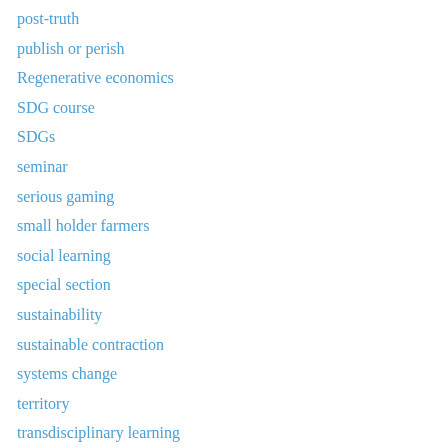post-truth
publish or perish
Regenerative economics
SDG course
SDGs
seminar
serious gaming
small holder farmers
social learning
special section
sustainability
sustainable contraction
systems change
territory
transdisciplinary learning
transgression
transgressive learning
Transition Twenties
Uncategorized
UNESCO